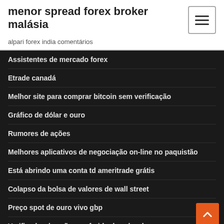menor spread forex broker malásia
alpari forex india comentários
Assistentes de mercado forex
Etrade canadá
Melhor site para comprar bitcoin sem verificação
Gráfico de dólar e ouro
Rumores de ações
Melhores aplicativos de negociação on-line no paquistão
Está abrindo uma conta td ameritrade grátis
Colapso da bolsa de valores de wall street
Preço spot de ouro vivo gbp
Verificador de ações preferido da schwab